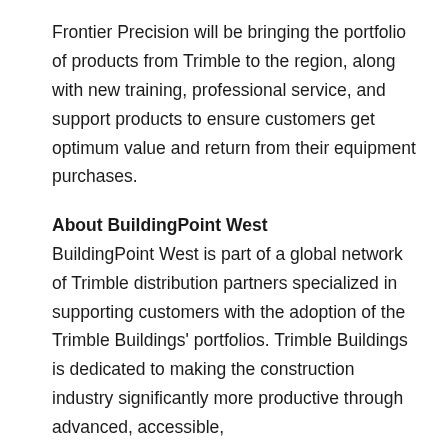Frontier Precision will be bringing the portfolio of products from Trimble to the region, along with new training, professional service, and support products to ensure customers get optimum value and return from their equipment purchases.
About BuildingPoint West
BuildingPoint West is part of a global network of Trimble distribution partners specialized in supporting customers with the adoption of the Trimble Buildings' portfolios. Trimble Buildings is dedicated to making the construction industry significantly more productive through advanced, accessible,